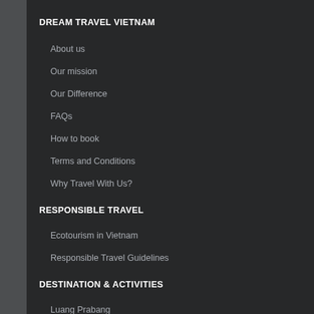DREAM TRAVEL VIETNAM
About us
Our mission
Our Difference
FAQs
How to book
Terms and Conditions
Why Travel With Us?
RESPONSIBLE TRAVEL
Ecotourism in Vietnam
Responsible Travel Guidelines
DESTINATION & ACTIVITIES
Luang Prabang
Mekong Delta
Ho Chi Minh City
Hoian Ancient Town
Siemriep
Sapa